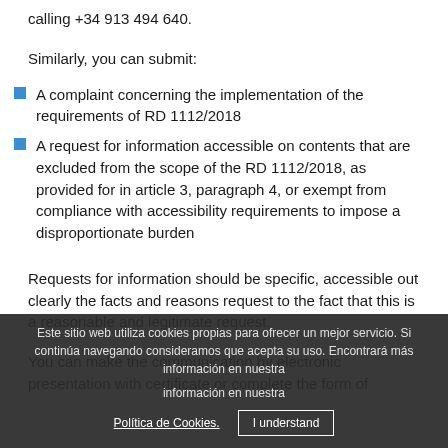calling +34 913 494 640.
Similarly, you can submit:
A complaint concerning the implementation of the requirements of RD 1112/2018
A request for information accessible on contents that are excluded from the scope of the RD 1112/2018, as provided for in article 3, paragraph 4, or exempt from compliance with accessibility requirements to impose a disproportionate burden
Requests for information should be specific, accessible out clearly the facts and reasons request to the fact that this is a reasonable and legitimate request.
You can make the communication by electronic presentation with certificate or complete the form of
Este sitio web utiliza cookies propias para ofrecer un mejor servicio. Si continúa navegando consideramos que acepta su uso. Encontrará más información en nuestra Política de Cookies.